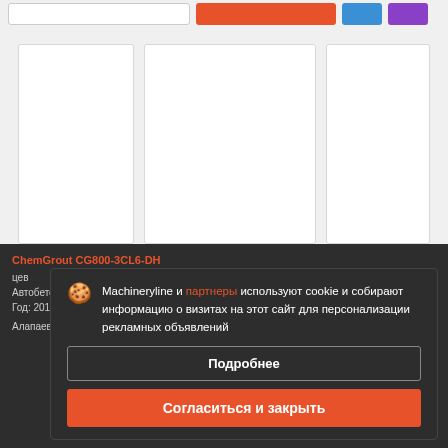[Figure (screenshot): Top navigation bar with search input, orange button, blue button, and purple button]
[Figure (screenshot): Three product card placeholders with white backgrounds and grey borders]
ChemGrout CG800-3CL6-DH
цена... Автобетон... Год: 201...
Machineryline и партнеры используют cookie и собирают информацию о визитах на этот сайт для персонализации рекламных объявлений
Подробнее
Согласиться и закрыть
Алапаевские Экскаватор... BOX 37